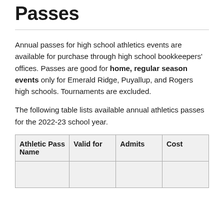Passes
Annual passes for high school athletics events are available for purchase through high school bookkeepers' offices. Passes are good for home, regular season events only for Emerald Ridge, Puyallup, and Rogers high schools. Tournaments are excluded.
The following table lists available annual athletics passes for the 2022-23 school year.
| Athletic Pass Name | Valid for | Admits | Cost |
| --- | --- | --- | --- |
|  |  |  |  |